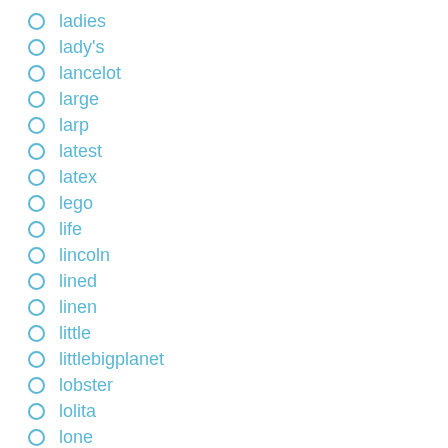ladies
lady's
lancelot
large
larp
latest
latex
lego
life
lincoln
lined
linen
little
littlebigplanet
lobster
lolita
lone